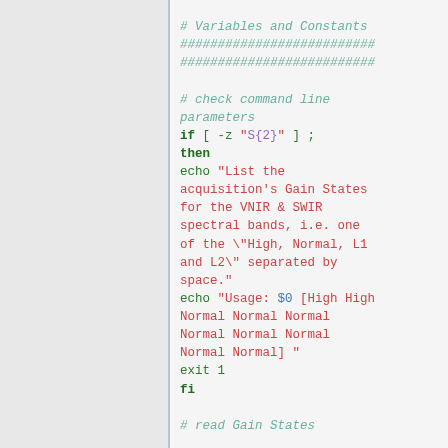# Variables and Constants
##########################
##########################

# check command line parameters
if [ -z "${2}" ] ;
then
echo "List the acquisition's Gain States for the VNIR & SWIR spectral bands, i.e. one of the \"High, Normal, L1 and L2\" separated by space."
echo "Usage: $0 [High High Normal Normal Normal Normal Normal Normal Normal Normal] "
exit 1
fi

# read Gain States